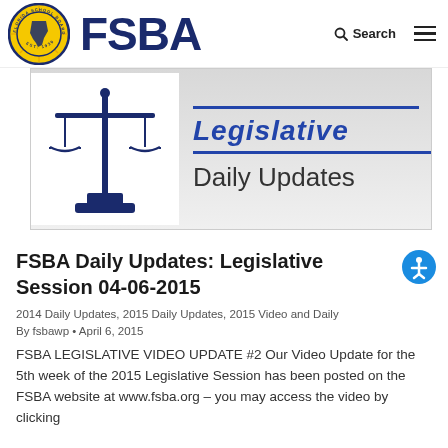[Figure (logo): Florida School Boards Association circular logo with EST. 1930, yellow sunburst, Florida map, and FSBA text title in navy blue]
[Figure (screenshot): Banner image showing scales of justice icon on left and 'Legislative Daily Updates' text on gray gradient background]
FSBA Daily Updates: Legislative Session 04-06-2015
2014 Daily Updates, 2015 Daily Updates, 2015 Video and Daily
By fsbawp • April 6, 2015
FSBA LEGISLATIVE VIDEO UPDATE #2 Our Video Update for the 5th week of the 2015 Legislative Session has been posted on the FSBA website at www.fsba.org – you may access the video by clicking